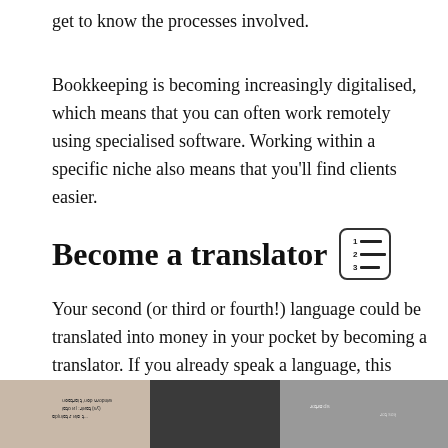get to know the processes involved.
Bookkeeping is becoming increasingly digitalised, which means that you can often work remotely using specialised software. Working within a specific niche also means that you'll find clients easier.
Become a translator
Your second (or third or fourth!) language could be translated into money in your pocket by becoming a translator. If you already speak a language, this really is one of those careers you can start from home without having to do too much extra training.
[Figure (photo): A photo strip at the bottom of the page showing books or documents, partially visible]